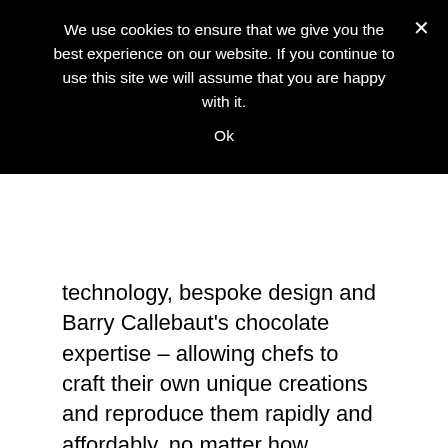We use cookies to ensure that we give you the best experience on our website. If you continue to use this site we will assume that you are happy with it.
Ok
technology, bespoke design and Barry Callebaut's chocolate expertise – allowing chefs to craft their own unique creations and reproduce them rapidly and affordably, no matter how intricate or specific the design.
Through the new Mona Lisa 3D Studio, chefs now have a world of new creative tools at their disposal. For the launch event, Mona Lisa teamed up with Jordi Roca – one of the world's most creative pastry chefs – to help him unleash his creativity through a unique 3D piece made out of chocolate. His latest creation 'Flor de Cacao' represents a cocoa bean that opens up like a cacao flower through contact with hot chocolate sauce.